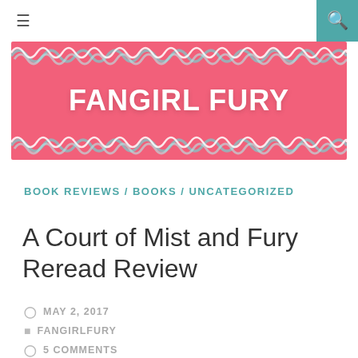≡  [search icon]
[Figure (illustration): Fangirl Fury blog banner with pink background, decorative teal and white scribble patterns on top and bottom borders, and white bold text reading FANGIRL FURY]
BOOK REVIEWS / BOOKS / UNCATEGORIZED
A Court of Mist and Fury Reread Review
MAY 2, 2017
FANGIRLFURY
5 COMMENTS